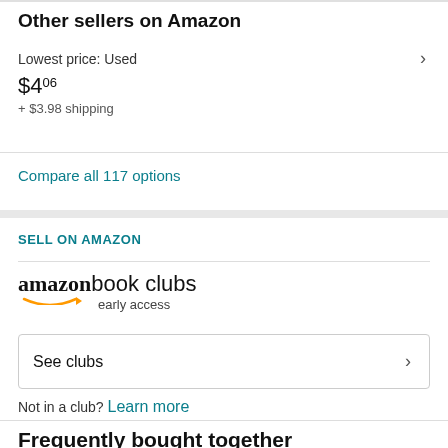Other sellers on Amazon
Lowest price: Used
$4.06
+ $3.98 shipping
Compare all 117 options
SELL ON AMAZON
[Figure (logo): Amazon book clubs early access logo]
See clubs
Not in a club? Learn more
Frequently bought together